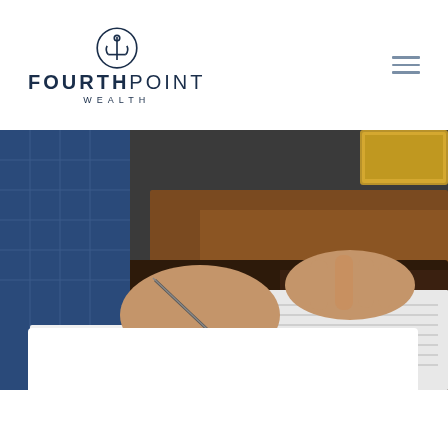[Figure (logo): FourthPoint Wealth logo with anchor icon above the text FOURTHPOINT WEALTH]
[Figure (photo): A man in a blue checked suit jacket signing or reviewing documents at a wooden desk, holding a pen, with a ring on his finger. A leather desk pad and stationery items are visible.]